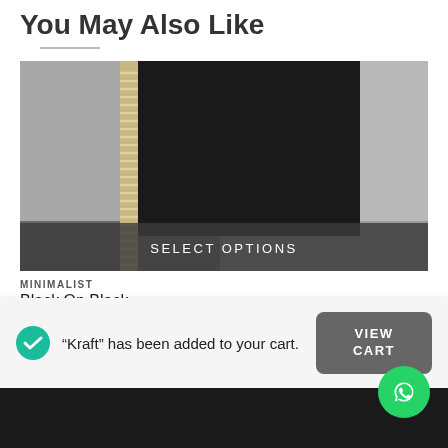You May Also Like
[Figure (photo): A spiral-bound notebook with a black cover, shown against a gray background, with a 'SELECT OPTIONS' overlay at the bottom.]
MINIMALIST
Black On Black
"Kraft" has been added to your cart.
VIEW CART